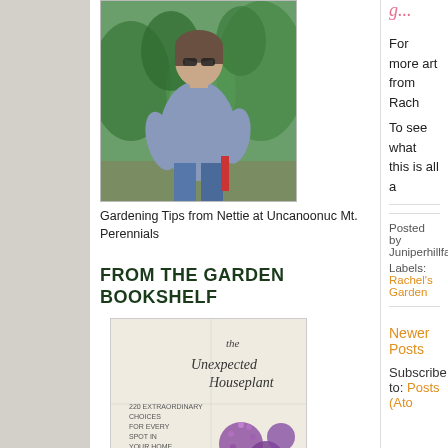[Figure (photo): Woman with sunglasses standing outdoors in front of green conifer shrubs, wearing a blue shirt and jeans, holding a gardening tool]
Gardening Tips from Nettie at Uncanoonuc Mt. Perennials
FROM THE GARDEN BOOKSHELF
[Figure (photo): Book cover: 'the Unexpected Houseplant — 220 Extraordinary Choices for Every Spot in Your Home' with purple allium flowers on a light background]
For more art from Rach
To see what this is all a
Posted by Juniperhillfarm
Labels: Rachel's Garden
Newer Posts
Subscribe to: Posts (Ato